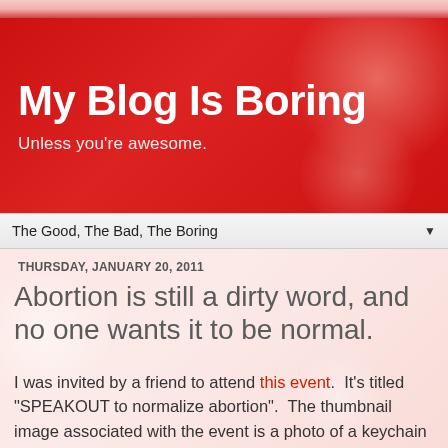My Blog Is Boring
Unless you're awesome.
The Good, The Bad, The Boring
THURSDAY, JANUARY 20, 2011
Abortion is still a dirty word, and no one wants it to be normal.
I was invited by a friend to attend this event.  It's titled "SPEAKOUT to normalize abortion".  The thumbnail image associated with the event is a photo of a keychain that reads "I had an abortion...and I don't regret it."  It sounds like the purpose is to give women a safe place to share their